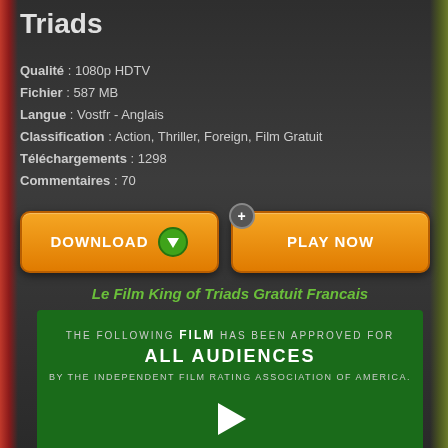Triads
Qualité : 1080p HDTV
Fichier : 587 MB
Langue : Vostfr - Anglais
Classification : Action, Thriller, Foreign, Film Gratuit
Téléchargements : 1298
Commentaires : 70
[Figure (screenshot): Orange DOWNLOAD button with green arrow icon]
[Figure (screenshot): Orange PLAY NOW button with plus badge]
Le Film King of Triads Gratuit Francais
[Figure (screenshot): Green video box with film rating card: THE FOLLOWING FILM HAS BEEN APPROVED FOR ALL AUDIENCES BY THE INDEPENDENT FILM RATING ASSOCIATION OF AMERICA. G RESTRICTED UNDER 17 REQUIRES ACCOMPANYING PARENT OR ADULT GUARDIAN]